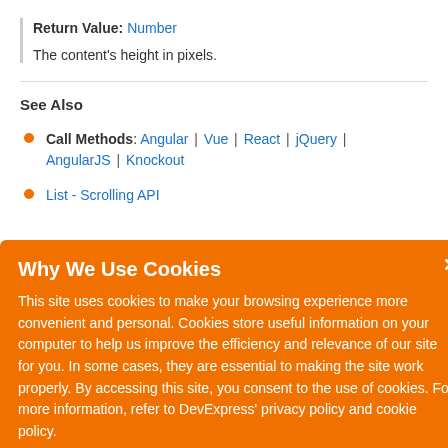Return Value: Number
The content's height in pixels.
See Also
Call Methods: Angular | Vue | React | jQuery | AngularJS | Knockout
List - Scrolling API
Why We Use Cookies
This site uses cookies to make your browsing experience more convenient and personal. Cookies store useful information on your computer to help us improve the efficiency and relevance of our site for you. In some cases, they are essential to making the site work properly. By accessing this site, you consent to the use of cookies. For more information, refer to DevExpress' privacy policy and cookie policy.
I UNDERSTAND
The position to scroll to (in pixels).